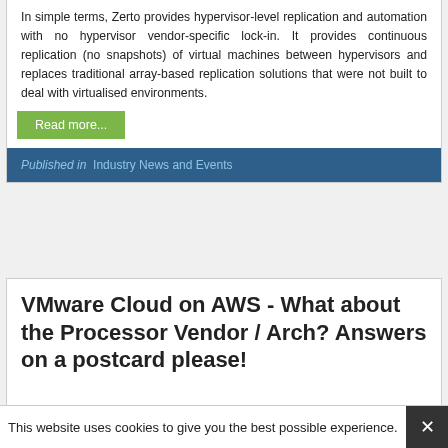In simple terms, Zerto provides hypervisor-level replication and automation with no hypervisor vendor-specific lock-in. It provides continuous replication (no snapshots) of virtual machines between hypervisors and replaces traditional array-based replication solutions that were not built to deal with virtualised environments.
Read more...
Published in  Industry News and Events
VMware Cloud on AWS - What about the Processor Vendor / Arch? Answers on a postcard please!
This website uses cookies to give you the best possible experience.